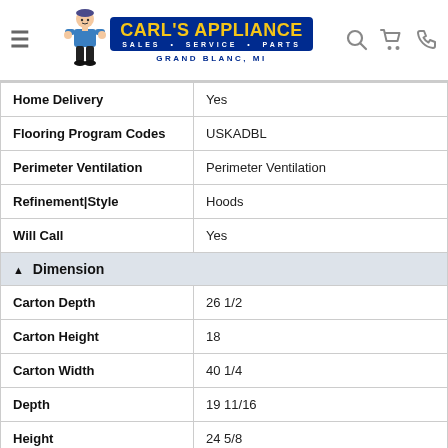Carl's Appliance — Sales · Service · Parts — Grand Blanc, MI
| Home Delivery | Yes |
| Flooring Program Codes | USKADBL |
| Perimeter Ventilation | Perimeter Ventilation |
| Refinement|Style | Hoods |
| Will Call | Yes |
| ▲ Dimension |  |
| Carton Depth | 26 1/2 |
| Carton Height | 18 |
| Carton Width | 40 1/4 |
| Depth | 19 11/16 |
| Height | 24 5/8 |